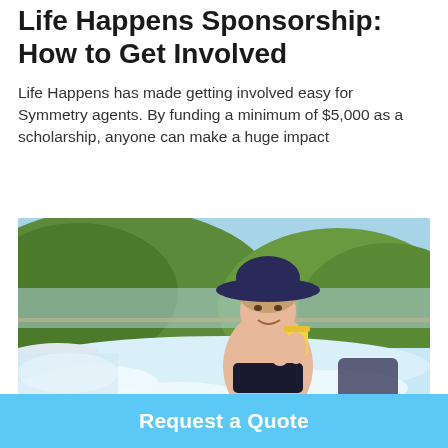Life Happens Sponsorship: How to Get Involved
Life Happens has made getting involved easy for Symmetry agents. By funding a minimum of $5,000 as a scholarship, anyone can make a huge impact
[Figure (photo): Woman wearing a wide-brimmed navy hat, sitting in a hot tub holding a yellow drink, with green forested hills in the background]
Request a Quote